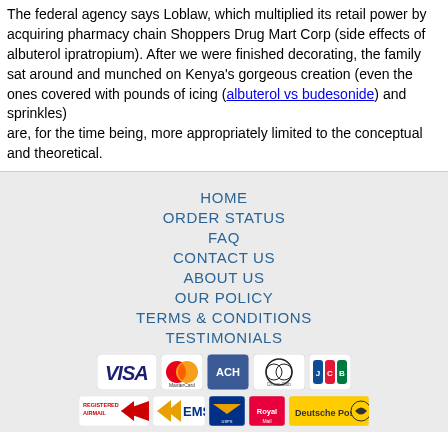The federal agency says Loblaw, which multiplied its retail power by acquiring pharmacy chain Shoppers Drug Mart Corp (side effects of albuterol ipratropium). After we were finished decorating, the family sat around and munched on Kenya's gorgeous creation (even the ones covered with pounds of icing (albuterol vs budesonide) and sprinkles)
are, for the time being, more appropriately limited to the conceptual and theoretical.
HOME
ORDER STATUS
FAQ
CONTACT US
ABOUT US
OUR POLICY
TERMS & CONDITIONS
TESTIMONIALS
[Figure (other): Payment method logos: VISA, MasterCard, ACH, Diners Club, JCB]
[Figure (other): Shipping logos: Registered Airmail, EMS, USPS, Royal Mail, Deutsche Post]